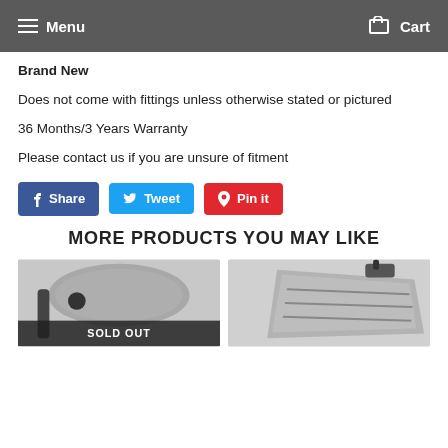Menu  Cart
Brand New
Does not come with fittings unless otherwise stated or pictured
36 Months/3 Years Warranty
Please contact us if you are unsure of fitment
Share  Tweet  Pin it
MORE PRODUCTS YOU MAY LIKE
[Figure (photo): Car side mirror product image with SOLD OUT badge]
[Figure (photo): Car headlight/fog light product image]